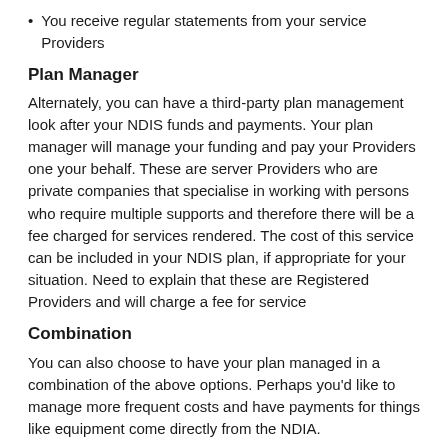You receive regular statements from your service Providers
Plan Manager
Alternately, you can have a third-party plan management look after your NDIS funds and payments. Your plan manager will manage your funding and pay your Providers one your behalf. These are server Providers who are private companies that specialise in working with persons who require multiple supports and therefore there will be a fee charged for services rendered. The cost of this service can be included in your NDIS plan, if appropriate for your situation. Need to explain that these are Registered Providers and will charge a fee for service
Combination
You can also choose to have your plan managed in a combination of the above options. Perhaps you'd like to manage more frequent costs and have payments for things like equipment come directly from the NDIA.
You may also be entitled to set up automated payments to cover transport services you use regularly.